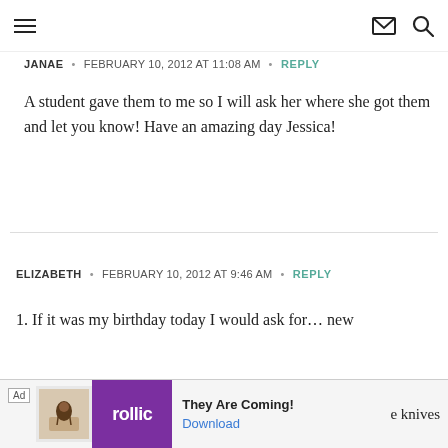Navigation header with hamburger menu, mail icon, and search icon
JANAE · FEBRUARY 10, 2012 AT 11:08 AM · REPLY
A student gave them to me so I will ask her where she got them and let you know! Have an amazing day Jessica!
ELIZABETH · FEBRUARY 10, 2012 AT 9:46 AM · REPLY
1. If it was my birthday today I would ask for… new
[Figure (other): Ad banner: Rollic app ad reading 'They Are Coming!' with a Download button, and partial text 'e knives']